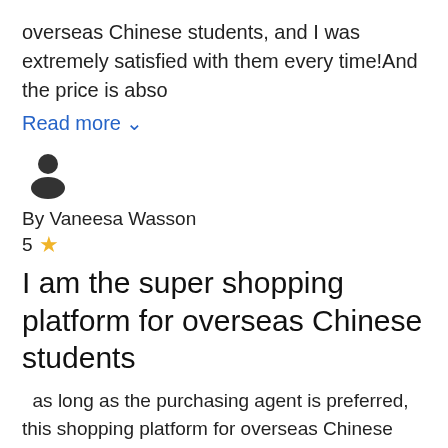overseas Chinese students, and I was extremely satisfied with them every time!And the price is abso
Read more ▾
[Figure (illustration): Generic user avatar icon - silhouette of a person]
By Vaneesa Wasson
5 ☆
I am the super shopping platform for overseas Chinese students
as long as the purchasing agent is preferred, this shopping platform for overseas Chinese students is a good platform with guaranteed quality, friendly price and convenient purchasing.I think it's good to recommend it to the students around us. What do we want to buy? On this shopping platform for